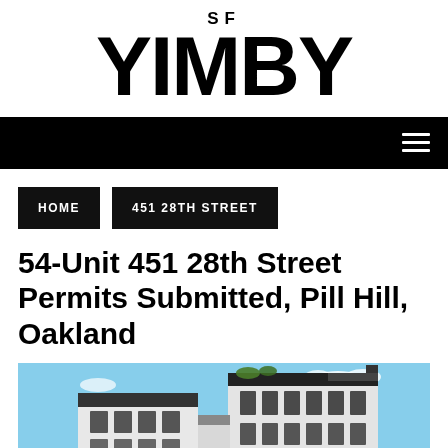SF YIMBY
HOME | 451 28TH STREET
54-Unit 451 28th Street Permits Submitted, Pill Hill, Oakland
[Figure (photo): Architectural rendering of a modern multi-story white residential building against a blue sky, located at 451 28th Street, Oakland]